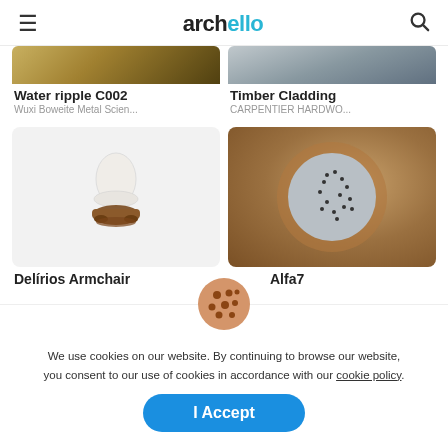archello
[Figure (photo): Partial top view of Water ripple C002 product image]
Water ripple C002
Wuxi Boweite Metal Scien...
[Figure (photo): Partial top view of Timber Cladding product image]
Timber Cladding
CARPENTIER HARDWO...
[Figure (photo): Delirios Armchair product photo on white background]
Delirios Armchair
[Figure (photo): Alfa7 product photo showing a grey circular disc with dot pattern on wooden bowl background]
Alfa7
[Figure (illustration): Cookie icon - round cookie with chocolate chips]
We use cookies on our website. By continuing to browse our website, you consent to our use of cookies in accordance with our cookie policy.
I Accept